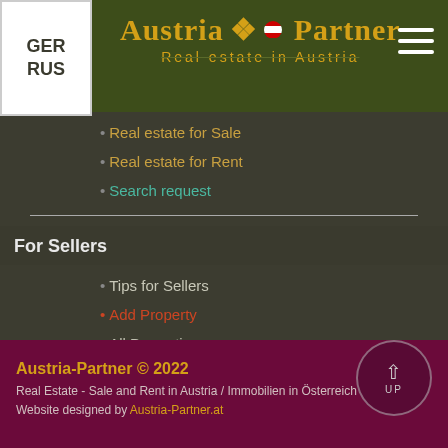GER RUS — Austria-Partner Real estate in Austria
• Real estate for Sale
• Real estate for Rent
• Search request
For Sellers
• Tips for Sellers
• Add Property
• All Properties
• Price for Advertisers
Austria-Partner © 2022
Real Estate - Sale and Rent in Austria / Immobilien in Österreich
Website designed by Austria-Partner.at